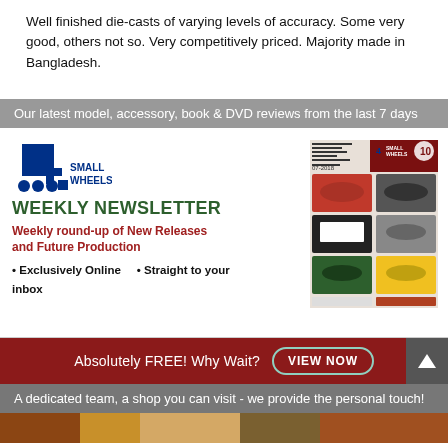Well finished die-casts of varying levels of accuracy. Some very good, others not so. Very competitively priced. Majority made in Bangladesh.
Our latest model, accessory, book & DVD reviews from the last 7 days
[Figure (illustration): 4 Small Wheels Weekly Newsletter advertisement with logo, magazine cover showing model cars, headline 'WEEKLY NEWSLETTER', subheading 'Weekly round-up of New Releases and Future Production', bullet points 'Exclusively Online' and 'Straight to your inbox']
Absolutely FREE! Why Wait? VIEW NOW
A dedicated team, a shop you can visit - we provide the personal touch!
[Figure (photo): Bottom strip showing shop interior image]